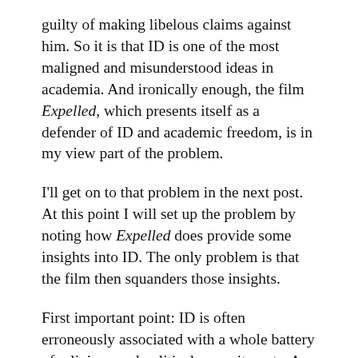guilty of making libelous claims against him. So it is that ID is one of the most maligned and misunderstood ideas in academia. And ironically enough, the film Expelled, which presents itself as a defender of ID and academic freedom, is in my view part of the problem.
I'll get on to that problem in the next post. At this point I will set up the problem by noting how Expelled does provide some insights into ID. The only problem is that the film then squanders those insights.
First important point: ID is often erroneously associated with a whole battery of religious and political commitments. As one scientist...